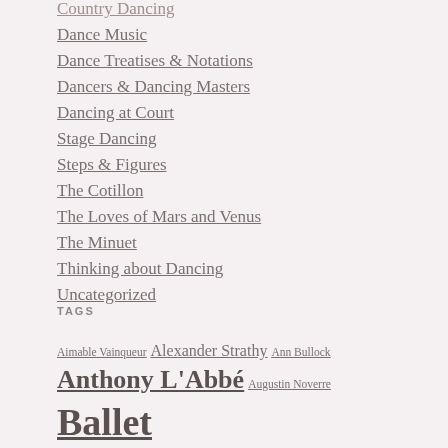Country Dancing
Dance Music
Dance Treatises & Notations
Dancers & Dancing Masters
Dancing at Court
Stage Dancing
Steps & Figures
The Cotillon
The Loves of Mars and Venus
The Minuet
Thinking about Dancing
Uncategorized
TAGS
Aimable Vainqueur Alexander Strathy Ann Bullock Anthony L'Abbé Augustin Noverre Ballet Ballet de Cour Baroque Dance Baroque Gesture chacone Charles II Charles Mason